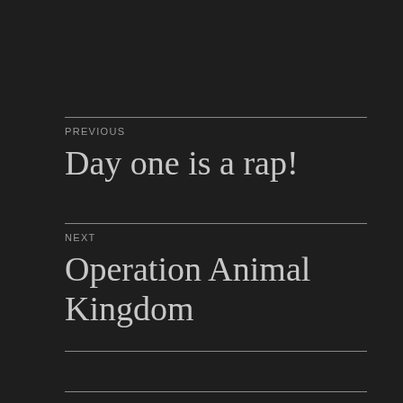PREVIOUS
Day one is a rap!
NEXT
Operation Animal Kingdom